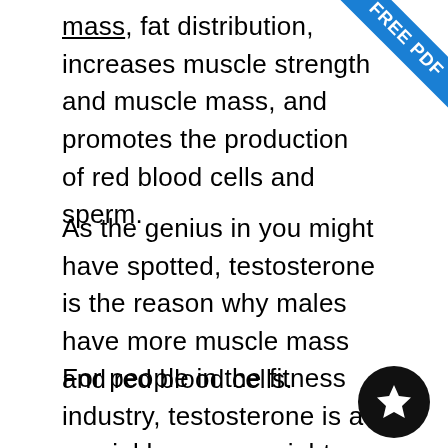mass, fat distribution, increases muscle strength and muscle mass, and promotes the production of red blood cells and sperm.
As the genius in you might have spotted, testosterone is the reason why males have more muscle mass and red blood cells.
For people in the fitness industry, testosterone is a crucial hormone. might have searched google for ways